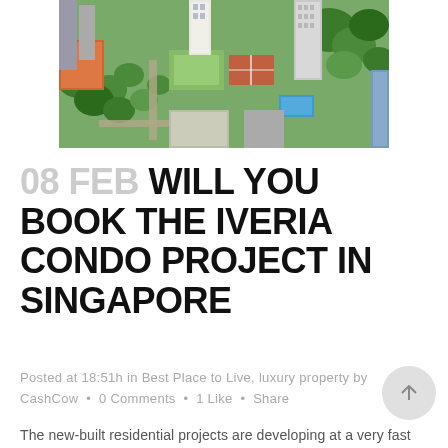[Figure (photo): Aerial view of a Singapore residential condo development with high-rise buildings, green trees, tennis courts, and a pool area]
08 FEB WILL YOU BOOK THE IVERIA CONDO PROJECT IN SINGAPORE
Posted at 18:51h in Best Place to Live, luxury property by CashCow • 0 Comments • 1 Like • Share
The new-built residential projects are developing at a very fast pace in Singapore, due to the growing...